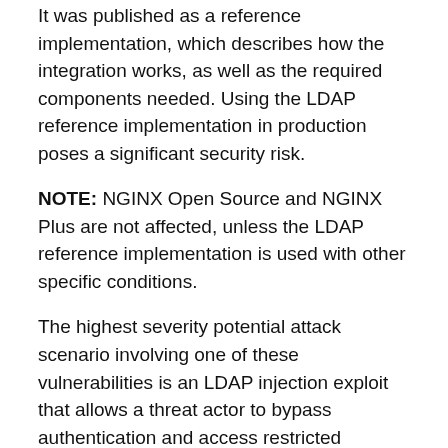It was published as a reference implementation, which describes how the integration works, as well as the required components needed. Using the LDAP reference implementation in production poses a significant security risk.
NOTE: NGINX Open Source and NGINX Plus are not affected, unless the LDAP reference implementation is used with other specific conditions.
The highest severity potential attack scenario involving one of these vulnerabilities is an LDAP injection exploit that allows a threat actor to bypass authentication and access restricted resources that are proxied through an NGINX server.
On April 9, 2022, BlueHornet – anonymous hacktivists group – stated the group had an experimental proof-of-concept (PoC) exploit for NGINX. Based on details